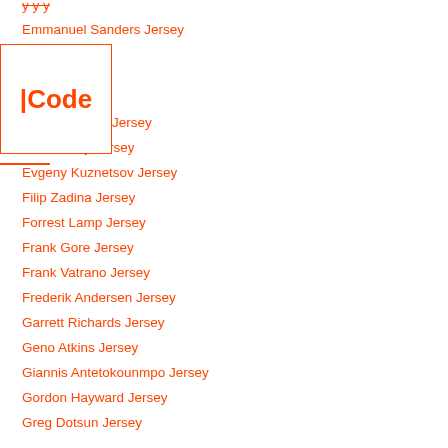Emmanuel Sanders Jersey
Eric Kendricks Jersey
Eric Murray Jersey
Evgeny Kuznetsov Jersey
Filip Zadina Jersey
Forrest Lamp Jersey
Frank Gore Jersey
Frank Vatrano Jersey
Frederik Andersen Jersey
Garrett Richards Jersey
Geno Atkins Jersey
Giannis Antetokounmpo Jersey
Gordon Hayward Jersey
Greg Dotsun Jersey